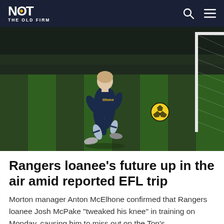NOT THE OLD FIRM
[Figure (photo): A football player in dark navy kit kicking a ball on a floodlit pitch, with a goal and net visible on the right side]
Rangers loanee's future up in the air amid reported EFL trip
Morton manager Anton McElhone confirmed that Rangers loanee Josh McPake "tweaked his knee" in training on Monday, causing him to miss out on the Ton's ...